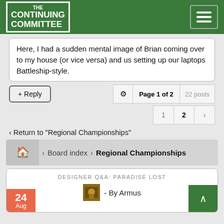THE CONTINUING COMMITTEE
Here, I had a sudden mental image of Brian coming over to my house (or vice versa) and us setting up our laptops Battleship-style.
+ Reply | ⚙ | Page 1 of 2 | 22 posts
1 | 2 | >
< Return to "Regional Championships"
Board index > Regional Championships
DESIGNER Q&A: PARADISE LOST
- By Armus
24 Aug